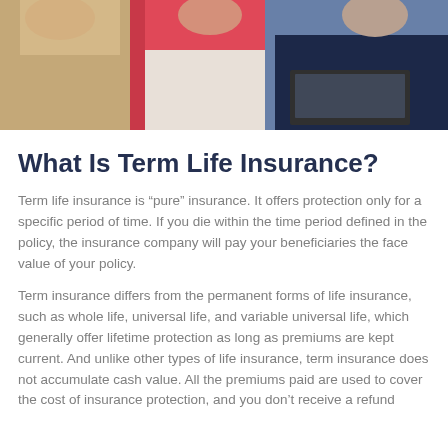[Figure (photo): Group photo of three people seated on a sofa — a person in a tan jacket on the left, a woman in a red top in the center, and a man in a dark jacket on the right holding a laptop, appearing to discuss insurance or financial matters.]
What Is Term Life Insurance?
Term life insurance is “pure” insurance. It offers protection only for a specific period of time. If you die within the time period defined in the policy, the insurance company will pay your beneficiaries the face value of your policy.
Term insurance differs from the permanent forms of life insurance, such as whole life, universal life, and variable universal life, which generally offer lifetime protection as long as premiums are kept current. And unlike other types of life insurance, term insurance does not accumulate cash value. All the premiums paid are used to cover the cost of insurance protection, and you don’t receive a refund